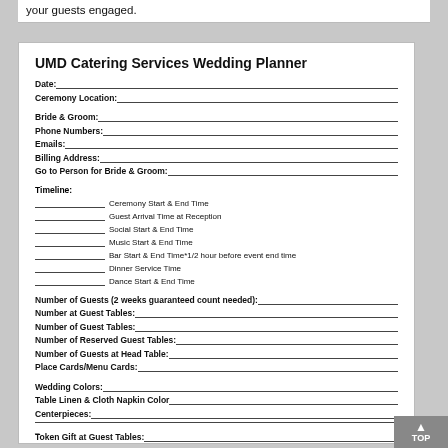your guests engaged.
UMD Catering Services Wedding Planner
Date:
Ceremony Location:
Bride & Groom:
Phone Numbers:
Emails:
Billing Address:
Go to Person for Bride & Groom:
Timeline:
___ Ceremony Start & End Time
___ Guest Arrival Time at Reception
___ Social Start & End Time
___ Music Start & End Time
___ Bar Start & End Time*1/2 hour before event end time
___ Dinner Service Time
___ Dance Start & End Time
Number of Guests (2 weeks guaranteed count needed):
Number at Guest Tables:
Number of Guest Tables:
Number of Reserved Guest Tables:
Number of Guests at Head Table:
Place Cards/Menu Cards:
Wedding Colors:
Table Linen & Cloth Napkin Color
Centerpieces:
Token Gift at Guest Tables:
Guest Book Table Size & Location:
Gift Table Location & Bringing in Card Box:
Cake Table Location: